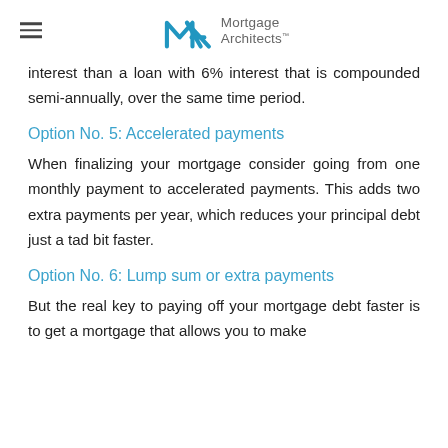Mortgage Architects
interest than a loan with 6% interest that is compounded semi-annually, over the same time period.
Option No. 5: Accelerated payments
When finalizing your mortgage consider going from one monthly payment to accelerated payments. This adds two extra payments per year, which reduces your principal debt just a tad bit faster.
Option No. 6: Lump sum or extra payments
But the real key to paying off your mortgage debt faster is to get a mortgage that allows you to make